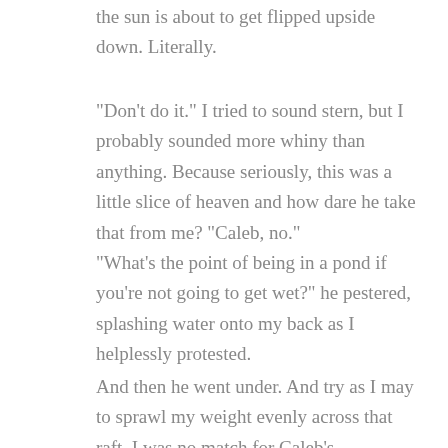the sun is about to get flipped upside down. Literally.
“Don't do it.” I tried to sound stern, but I probably sounded more whiny than anything. Because seriously, this was a little slice of heaven and how dare he take that from me? “Caleb, no.”
“What's the point of being in a pond if you're not going to get wet?” he pestered, splashing water onto my back as I helplessly protested.
And then he went under. And try as I may to sprawl my weight evenly across that raft, I was no match for Caleb’s determination.
“I’m sorry,” he lied, and swam away, leaving me in the middle of a pond with my arms draped across a raft that